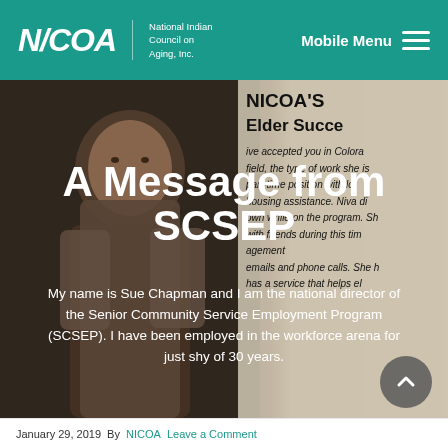[Figure (screenshot): NICOA website header with teal background, logo on left, Mobile Menu hamburger on right]
[Figure (photo): Composite hero image: elderly Native American woman on dark left background overlapping with lighter right panel showing partial NICOA SCSEP Elder Success story text]
A Message from SCSEP
My name is Sue Chapman and I am the national director of the Senior Community Service Employment Program (SCSEP). I have been employed in the workforce arena for just shy of 30 years.
January 29, 2019 By NICOA Leave a Comment